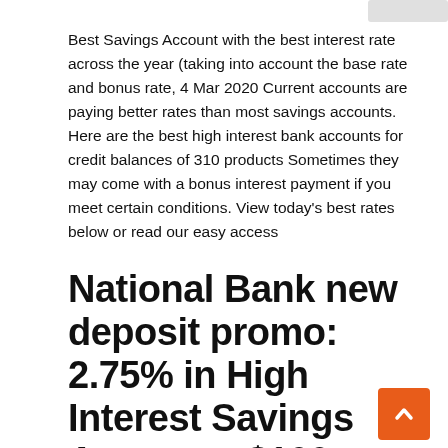Best Savings Account with the best interest rate across the year (taking into account the base rate and bonus rate,  4 Mar 2020 Current accounts are paying better rates than most savings accounts. Here are the best high interest bank accounts for credit balances of  310 products Sometimes they may come with a bonus interest payment if you meet certain conditions. View today's best rates below or read our easy access
National Bank new deposit promo: 2.75% in High Interest Savings Accounts $100 bonus when you open a Good To Grow High Interest Savings Account with